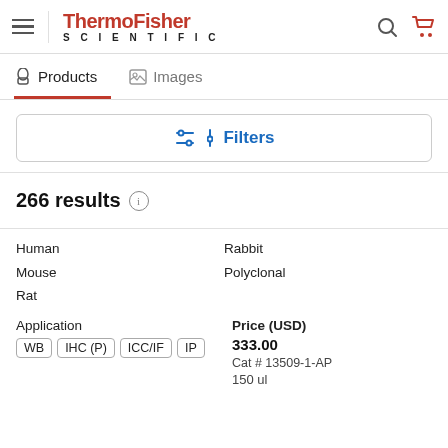ThermoFisher SCIENTIFIC
Products | Images
Filters
266 results
Human
Mouse
Rat
Rabbit
Polyclonal
Application
WB  IHC (P)  ICC/IF  IP
Price (USD)
333.00
Cat # 13509-1-AP
150 ul